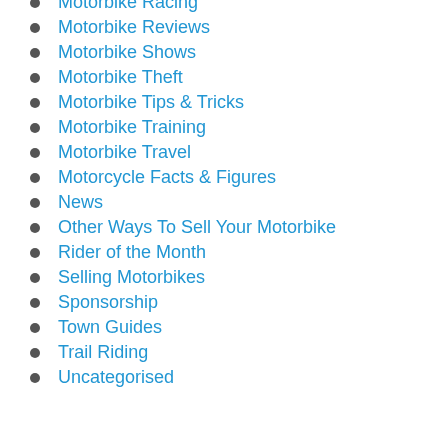Motorbike Racing
Motorbike Reviews
Motorbike Shows
Motorbike Theft
Motorbike Tips & Tricks
Motorbike Training
Motorbike Travel
Motorcycle Facts & Figures
News
Other Ways To Sell Your Motorbike
Rider of the Month
Selling Motorbikes
Sponsorship
Town Guides
Trail Riding
Uncategorised